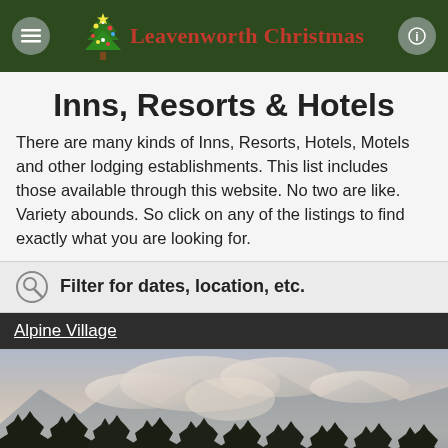Leavenworth Christmas
Inns, Resorts & Hotels
There are many kinds of Inns, Resorts, Hotels, Motels and other lodging establishments. This list includes those available through this website. No two are like. Variety abounds. So click on any of the listings to find exactly what you are looking for.
Filter for dates, location, etc.
Alpine Village
[Figure (photo): Scenic outdoor landscape photo showing a twilight or overcast sky with silhouetted pine trees and mountains in the background.]